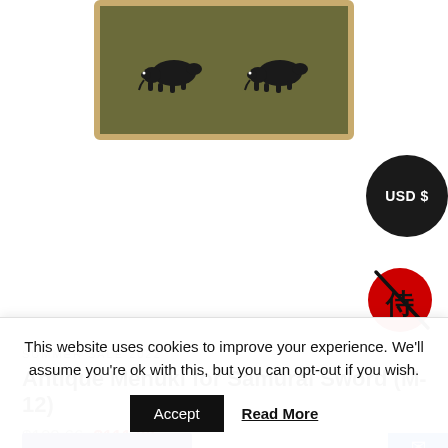[Figure (photo): Product image of an antique menuki patch on olive/green background with gold border, showing two boar/animal figures. Partially cropped at top.]
[Figure (other): Black circular badge with text 'USD $']
[Figure (logo): Red circular logo with Japanese kanji character (samurai) and a slash/sword mark]
SUMMER SALE 2022
Antique Menuki for Samurai Sword (M-12)
$123.66 $111.30
This website uses cookies to improve your experience. We'll assume you're ok with this, but you can opt-out if you wish.
Accept  Read More